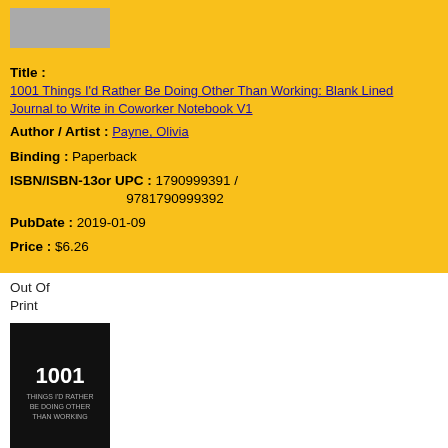[Figure (photo): Gray placeholder book cover thumbnail]
Title : 1001 Things I'd Rather Be Doing Other Than Working: Blank Lined Journal to Write in Coworker Notebook V1
Author / Artist : Payne, Olivia
Binding : Paperback
ISBN/ISBN-13or UPC : 1790999391 / 9781790999392
PubDate : 2019-01-09
Price : $6.26
Out Of Print
[Figure (photo): Black book cover with '1001 Things I'd Rather Be Doing Other Than Working' text in white]
Title : 1001 Things I'd Rather Be Doing Other Than Working: Blank Lined Journal to Write in Coworker Notebook V2
Author / Artist : Payne, Olivia
Binding : Paperback